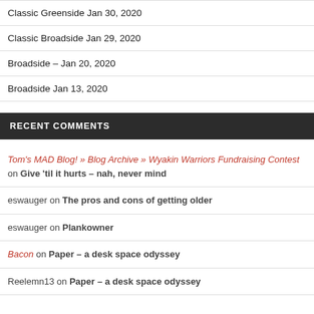Classic Greenside Jan 30, 2020
Classic Broadside Jan 29, 2020
Broadside – Jan 20, 2020
Broadside Jan 13, 2020
RECENT COMMENTS
Tom's MAD Blog! » Blog Archive » Wyakin Warriors Fundraising Contest on Give 'til it hurts – nah, never mind
eswauger on The pros and cons of getting older
eswauger on Plankowner
Bacon on Paper – a desk space odyssey
Reelemn13 on Paper – a desk space odyssey